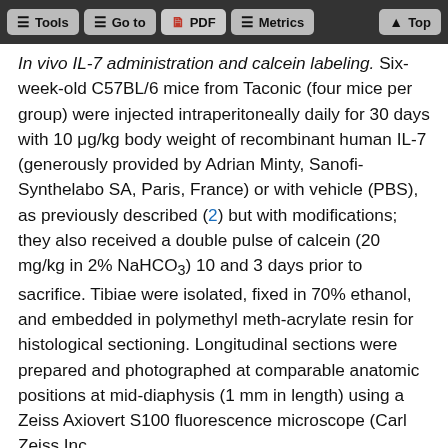Tools | Go to | PDF | Metrics | Top
In vivo IL-7 administration and calcein labeling. Six-week-old C57BL/6 mice from Taconic (four mice per group) were injected intraperitoneally daily for 30 days with 10 μg/kg body weight of recombinant human IL-7 (generously provided by Adrian Minty, Sanofi-Synthelabo SA, Paris, France) or with vehicle (PBS), as previously described (2) but with modifications; they also received a double pulse of calcein (20 mg/kg in 2% NaHCO₃) 10 and 3 days prior to sacrifice. Tibiae were isolated, fixed in 70% ethanol, and embedded in polymethyl meth-acrylate resin for histological sectioning. Longitudinal sections were prepared and photographed at comparable anatomic positions at mid-diaphysis (1 mm in length) using a Zeiss Axiovert S100 fluorescence microscope (Carl Zeiss Inc.,